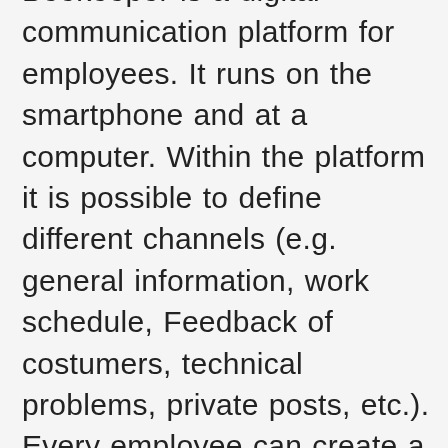Beekeeper is a digital communication platform for employees. It runs on the smartphone and at a computer. Within the platform it is possible to define different channels (e.g. general information, work schedule, Feedback of costumers, technical problems, private posts, etc.). Every employee can create a post. By liking a post, one confirms that the post has been read. Comments on it are also possible.It is also possible to create a private or a group chat to stay quickly connected. Another option is to create surveys for the team for special topics. To ensure the safety of the data, Beekeeper works with 256-bit TLS data encryption, advanced firewalls, periodic security audits